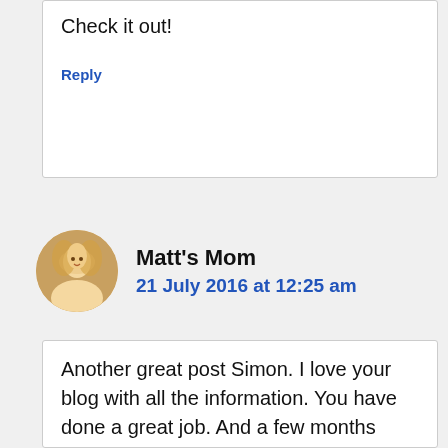Check it out!
Reply
Matt's Mom
21 July 2016 at 12:25 am
Another great post Simon. I love your blog with all the information. You have done a great job. And a few months ago, I would have never thought that I needed to have key words that rank. I just thought if I built a website and put the information on that was interesting...